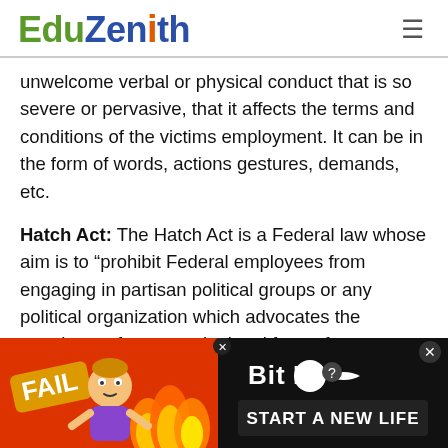EduZenith
unwelcome verbal or physical conduct that is so severe or pervasive, that it affects the terms and conditions of the victims employment. It can be in the form of words, actions gestures, demands, etc.
Hatch Act: The Hatch Act is a Federal law whose aim is to “prohibit Federal employees from engaging in partisan political groups or any political organization which advocates the overthrow of our constitutional form of government.”
Hazard Insurance: An insurance policy that protects against physical damage to the property caused by unexpected and sudden events such as fire or storms.
Heal
[Figure (screenshot): BitLife advertisement banner with FAIL badge, cartoon character, flames, BitLife logo, and 'START A NEW LIFE' button]